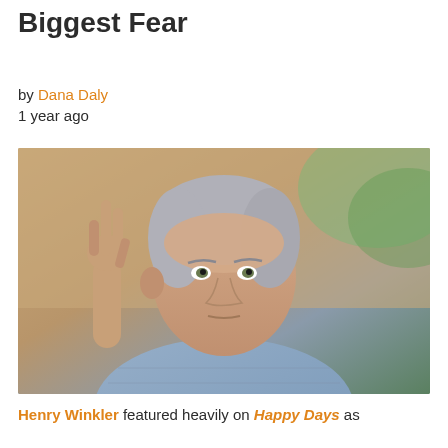Winkler Opens Up About His Biggest Fear
by Dana Daly
1 year ago
[Figure (photo): Henry Winkler seated, wearing a blue gingham shirt, raising his hand with fingers in a gesture, photographed indoors with a blurred warm background]
Henry Winkler featured heavily on Happy Days as